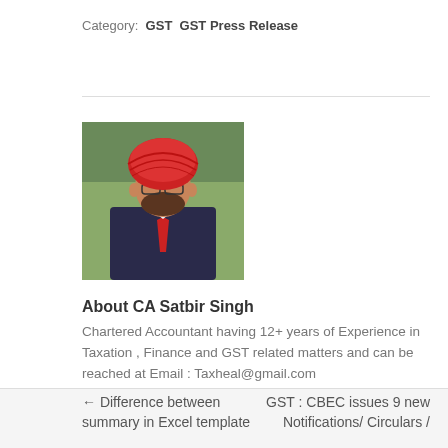Category:  GST  GST Press Release
[Figure (photo): Portrait photo of CA Satbir Singh wearing a red turban and dark suit with tie]
About CA Satbir Singh
Chartered Accountant having 12+ years of Experience in Taxation , Finance and GST related matters and can be reached at Email : Taxheal@gmail.com
View all posts by CA Satbir Singh →
← Difference between summary in Excel template
GST : CBEC issues 9 new Notifications/ Circulars /